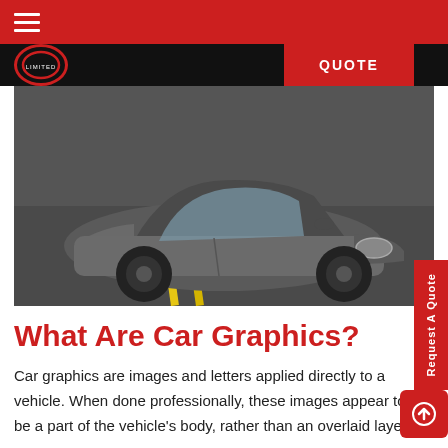Navigation menu bar with hamburger icon
[Figure (photo): A grey MINI Cooper car photographed in a parking lot with yellow line markings visible on asphalt. The car has black alloy wheels.]
What Are Car Graphics?
Car graphics are images and letters applied directly to a vehicle. When done professionally, these images appear to be a part of the vehicle's body, rather than an overlaid layer.
Some vehicle wraps and stickers cover the full body of the vehicle, and may even be placed over windows without obstructing the view from within.